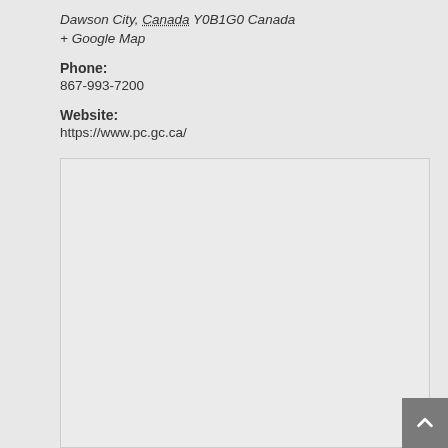Dawson City, Canada Y0B1G0 Canada
+ Google Map
Phone:
867-993-7200
Website:
https://www.pc.gc.ca/
[Figure (map): Empty map placeholder area showing a light gray rectangle representing an embedded Google Map of Dawson City, Canada]